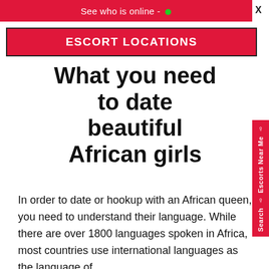See who is online -  •
ESCORT LOCATIONS
What you need to date beautiful African girls
In order to date or hookup with an African queen, you need to understand their language. While there are over 1800 languages spoken in Africa, most countries use international languages as the language of